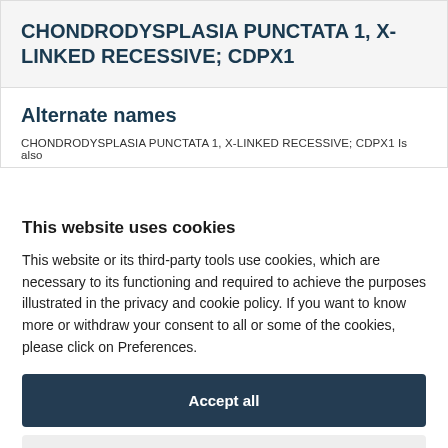CHONDRODYSPLASIA PUNCTATA 1, X-LINKED RECESSIVE; CDPX1
Alternate names
CHONDRODYSPLASIA PUNCTATA 1, X-LINKED RECESSIVE; CDPX1 Is also
This website uses cookies
This website or its third-party tools use cookies, which are necessary to its functioning and required to achieve the purposes illustrated in the privacy and cookie policy. If you want to know more or withdraw your consent to all or some of the cookies, please click on Preferences.
Accept all
Preferences